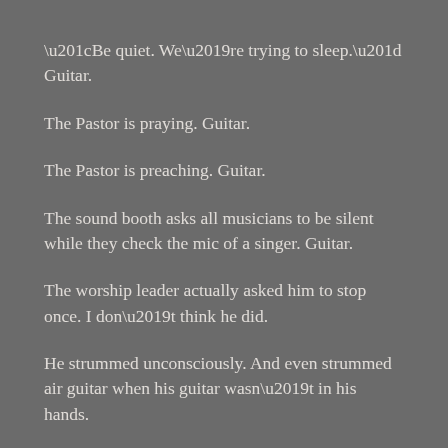“Be quiet. We’re trying to sleep.” Guitar.
The Pastor is praying. Guitar.
The Pastor is preaching. Guitar.
The sound booth asks all musicians to be silent while they check the mic of a singer. Guitar.
The worship leader actually asked him to stop once. I don’t think he did.
He strummed unconsciously. And even strummed air guitar when his guitar wasn’t in his hands.